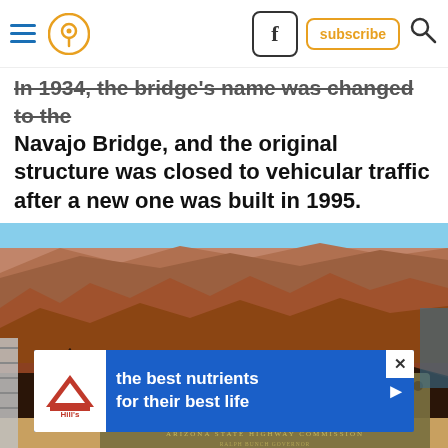Navigation bar with hamburger menu, location pin icon, Facebook button, subscribe button, and search icon
In 1934, the bridge's name was changed to the Navajo Bridge, and the original structure was closed to vehicular traffic after a new one was built in 1995.
[Figure (photo): Outdoor photograph of Navajo Bridge area showing red rock canyon landscape with a bronze commemorative plaque in the foreground reading: 1927 STATE OF ARIZONA 1928 NAVAJO BRIDGE ARCH 616 FEET TOTAL LENGTH 834 FEET HEIGHT 467 FEET ARIZONA STATE HIGHWAY COMMISSION]
[Figure (other): Advertisement banner for Hill's pet food: 'the best nutrients for their best life' with Hill's logo on blue background]